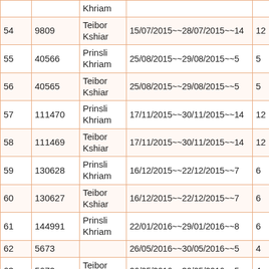| # | ID | Name | Date Range | Days |
| --- | --- | --- | --- | --- |
|  |  | Khriam |  |  |
| 54 | 9809 | Teibor Kshiar | 15/07/2015~~28/07/2015~~14 | 12 |
| 55 | 40566 | Prinsli Khriam | 25/08/2015~~29/08/2015~~5 | 5 |
| 56 | 40565 | Teibor Kshiar | 25/08/2015~~29/08/2015~~5 | 5 |
| 57 | 111470 | Prinsli Khriam | 17/11/2015~~30/11/2015~~14 | 12 |
| 58 | 111469 | Teibor Kshiar | 17/11/2015~~30/11/2015~~14 | 12 |
| 59 | 130628 | Prinsli Khriam | 16/12/2015~~22/12/2015~~7 | 6 |
| 60 | 130627 | Teibor Kshiar | 16/12/2015~~22/12/2015~~7 | 6 |
| 61 | 144991 | Prinsli Khriam | 22/01/2016~~29/01/2016~~8 | 6 |
| 62 | 5673 |  | 26/05/2016~~30/05/2016~~5 | 4 |
| 63 | 5672 | Teibor Kshiar | 26/05/2016~~30/05/2016~~5 | 4 |
| 64 | 22071 | Prinsli Khriam | 22/06/2016~~05/07/2016~~14 | 12 |
| 65 | 22070 | Teibor Kshiar | 22/06/2016~~05/07/2016~~14 | 12 |
| 66 | 59444 | Prinsli Khriam | 05/08/2016~~11/08/2016~~7 | 6 |
|  |  | Teibor |  |  |